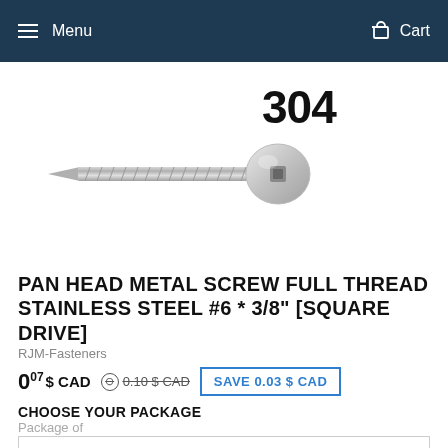Menu   Cart
[Figure (photo): Stainless steel pan head metal screw with square drive, shown diagonally with '304' badge indicating 304 stainless steel grade]
PAN HEAD METAL SCREW FULL THREAD STAINLESS STEEL #6 * 3/8" [SQUARE DRIVE]
RJM-Fasteners
0.07 $ CAD  0.10 $ CAD  SAVE 0.03 $ CAD
CHOOSE YOUR PACKAGE
Package of
Unity